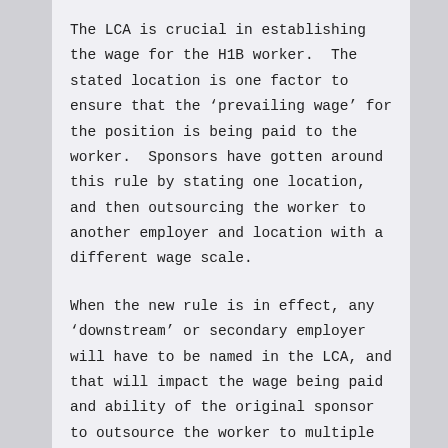The LCA is crucial in establishing the wage for the H1B worker. The stated location is one factor to ensure that the ‘prevailing wage’ for the position is being paid to the worker. Sponsors have gotten around this rule by stating one location, and then outsourcing the worker to another employer and location with a different wage scale.
When the new rule is in effect, any ‘downstream’ or secondary employer will have to be named in the LCA, and that will impact the wage being paid and ability of the original sponsor to outsource the worker to multiple clients. Given the increase of work site inspections of H1B visa workers, any discrepancies could threaten the immigration status of the employee, as well as the ability of